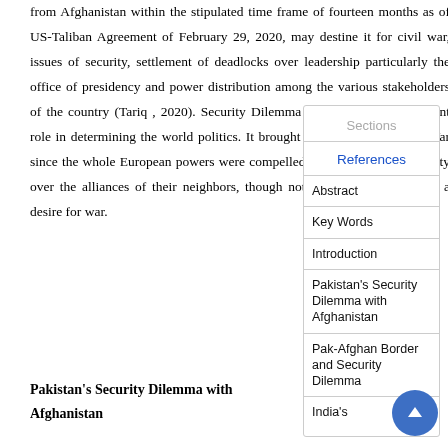from Afghanistan within the stipulated time frame of fourteen months as of US-Taliban Agreement of February 29, 2020, may destine it for civil war, issues of security, settlement of deadlocks over leadership particularly the office of presidency and power distribution among the various stakeholders of the country (Tariq , 2020). Security Dilemma plays the most significant role in determining the world politics. It brought about the First World War since the whole European powers were compelled by the sense of insecurity over the alliances of their neighbors, though not actually likely to have a desire for war.
Pakistan's Security Dilemma with Afghanistan
Sections
References
Abstract
Key Words
Introduction
Pakistan's Security Dilemma with Afghanistan
Pak-Afghan Border and Security Dilemma
India's